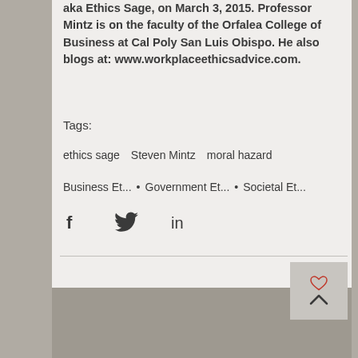aka Ethics Sage, on March 3, 2015. Professor Mintz is on the faculty of the Orfalea College of Business at Cal Poly San Luis Obispo. He also blogs at: www.workplaceethicsadvice.com.
Tags:
ethics sage
Steven Mintz
moral hazard
Business Et...
Government Et...
Societal Et...
[Figure (infographic): Social sharing icons: Facebook (f), Twitter (bird), LinkedIn (in)]